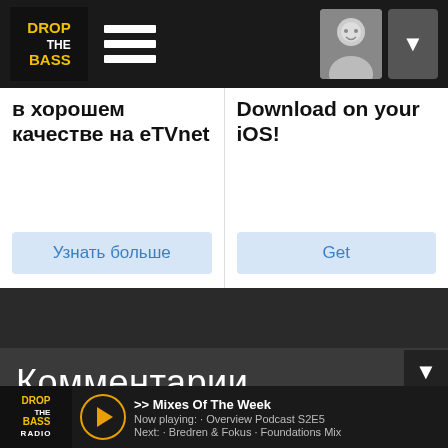DROP THE BASS [logo] — hamburger menu — user avatar — dropdown
в хорошем качестве на eTVnet
Узнать больше
Download on your iOS!
Get
Комментарии
Войдите или зарегистрируйтесь, чтобы оставить
комментарий к этому ма...
>> Mixes Of The Week | Now playing: · Overview Podcast S2E5 | Next: · Bredren & Fokus · Foundations Mix